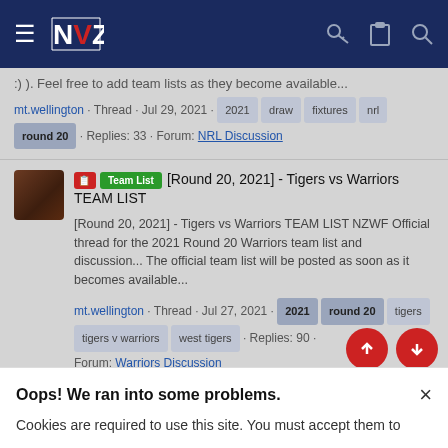NZ Warriors forum navigation header
:) ). Feel free to add team lists as they become available...
mt.wellington · Thread · Jul 29, 2021 · 2021 · draw · fixtures · nrl · round 20 · Replies: 33 · Forum: NRL Discussion
[Round 20, 2021] - Tigers vs Warriors TEAM LIST
[Round 20, 2021] - Tigers vs Warriors TEAM LIST NZWF Official thread for the 2021 Round 20 Warriors team list and discussion... The official team list will be posted as soon as it becomes available...
mt.wellington · Thread · Jul 27, 2021 · 2021 · round 20 · tigers · tigers v warriors · west tigers · Replies: 90 · Forum: Warriors Discussion
Oops! We ran into some problems.
Cookies are required to use this site. You must accept them to